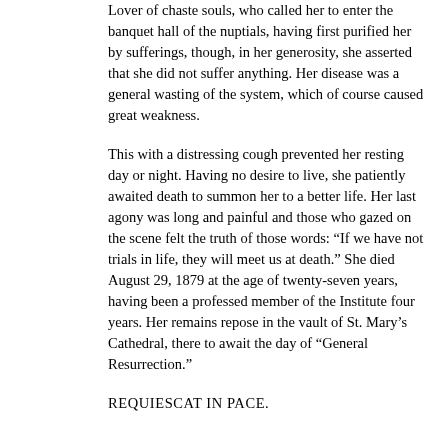Lover of chaste souls, who called her to enter the banquet hall of the nuptials, having first purified her by sufferings, though, in her generosity, she asserted that she did not suffer anything. Her disease was a general wasting of the system, which of course caused great weakness.
This with a distressing cough prevented her resting day or night. Having no desire to live, she patiently awaited death to summon her to a better life. Her last agony was long and painful and those who gazed on the scene felt the truth of those words: “If we have not trials in life, they will meet us at death.” She died August 29, 1879 at the age of twenty-seven years, having been a professed member of the Institute four years. Her remains repose in the vault of St. Mary’s Cathedral, there to await the day of “General Resurrection.”
REQUIESCAT IN PACE.